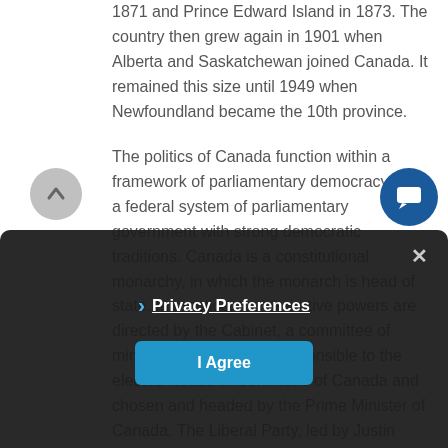1871 and Prince Edward Island in 1873. The country then grew again in 1901 when Alberta and Saskatchewan joined Canada. It remained this size until 1949 when Newfoundland became the 10th province.
The politics of Canada function within a framework of parliamentary democracy and a federal system of parliamentary government with strong democratic traditions. Canada is a constitutional monarchy, in which the monarch is head of state. In practice, the executive powers are directed by the Cabinet, a committee of ministers of the Crown responsible to the elected House of Commons of Canada and chosen and headed by the Prime Minister of Canada. The Liberal Party, led by Justin Trudeau secured a second term in the federal election of 2019 but lost its parliamentary majority thus needing to negotiate with parties on policy and legislation.